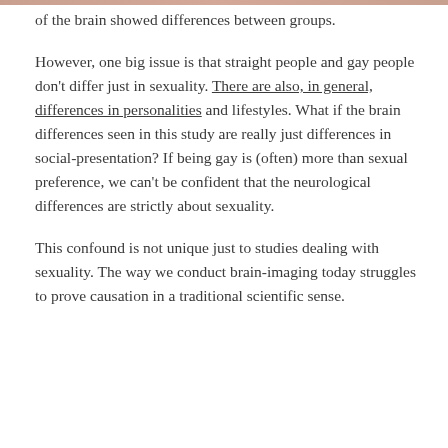of the brain showed differences between groups.
However, one big issue is that straight people and gay people don't differ just in sexuality. There are also, in general, differences in personalities and lifestyles. What if the brain differences seen in this study are really just differences in social-presentation? If being gay is (often) more than sexual preference, we can't be confident that the neurological differences are strictly about sexuality.
This confound is not unique just to studies dealing with sexuality. The way we conduct brain-imaging today struggles to prove causation in a traditional scientific sense.